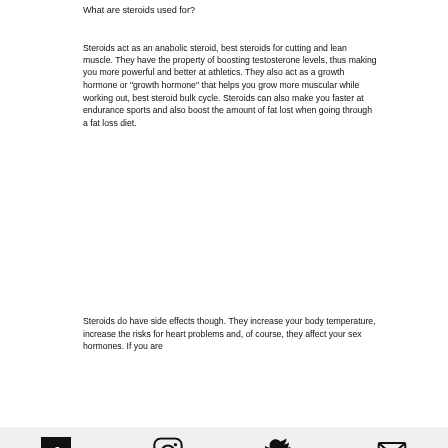What are steroids used for?
Steroids act as an anabolic steroid, best steroids for cutting and lean muscle. They have the property of boosting testosterone levels, thus making you more powerful and better at athletics. They also act as a growth hormone or "growth hormone" that helps you grow more muscular while working out, best steroid bulk cycle. Steroids can also make you faster at endurance sports and also boost the amount of fat lost when going through a fat loss diet.
Steroids do have side effects though. They increase your body temperature, increase the risks for heart problems and, of course, they affect your sex hormones. If you are
[Figure (infographic): Social share bar with four icons: Facebook (f), Instagram (circle camera), Twitter (bird), Email (envelope)]